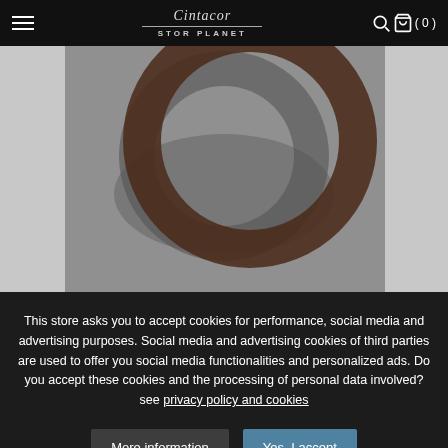Cintacor Group — STOR PLANET
[Figure (photo): Product image showing a Colonial Rose Window Finial in Oxide finish on a grey background. The finial appears as a dark brown/black circular ring shape.]
COLONIAL – Rose Window Finial Oxide (1 Pc.)
This store asks you to accept cookies for performance, social media and advertising purposes. Social media and advertising cookies of third parties are used to offer you social media functionalities and personalized ads. Do you accept these cookies and the processing of personal data involved? see privacy policy and cookies
More information
Yes, I accept